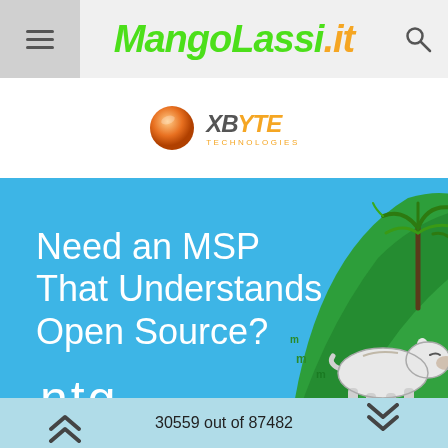MangoLassi.it
[Figure (logo): XBYTE Technologies logo with orange ball and stylized text]
[Figure (infographic): Blue advertisement banner: Need an MSP That Understands Open Source? ntg - with illustrated cartoon animal resting on a green hill with palm trees]
30559 out of 87482